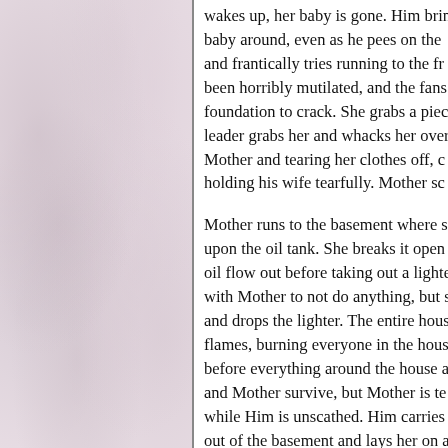wakes up, her baby is gone. Him bringing the baby around, even as he pees on them, and frantically tries running to the front, been horribly mutilated, and the fans, foundation to crack. She grabs a piece, leader grabs her and whacks her over, Mother and tearing her clothes off, holding his wife tearfully. Mother sc

Mother runs to the basement where she, upon the oil tank. She breaks it open, oil flow out before taking out a lighter, with Mother to not do anything, but she, and drops the lighter. The entire house, flames, burning everyone in the house, before everything around the house, and Mother survive, but Mother is te, while Him is unscathed. Him carries, out of the basement and lays her on a, asks Him "who are you?" He says, "I, YOU are home." She says, "I wish I, for you." He replies, "No, it's not you, create, that's what I do and I will aga, one more thing from you?" she replie, says, "Yes, you do. Your love, you st